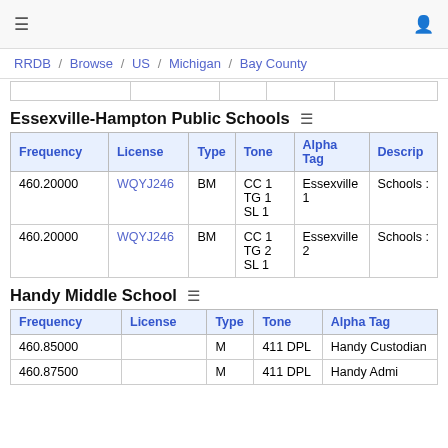≡  (user icon)
RRDB / Browse / US / Michigan / Bay County
|  |  |  |  |  |
| --- | --- | --- | --- | --- |
|  |  |  |  |  |
Essexville-Hampton Public Schools ≡
| Frequency | License | Type | Tone | Alpha Tag | Descrip |
| --- | --- | --- | --- | --- | --- |
| 460.20000 | WQYJ246 | BM | CC 1
TG 1
SL 1 | Essexville 1 | Schools |
| 460.20000 | WQYJ246 | BM | CC 1
TG 2
SL 1 | Essexville 2 | Schools |
Handy Middle School ≡
| Frequency | License | Type | Tone | Alpha Tag |
| --- | --- | --- | --- | --- |
| 460.85000 |  | M | 411 DPL | Handy Custodian |
| 460.87500 |  | M | 411 DPL | Handy Admin |